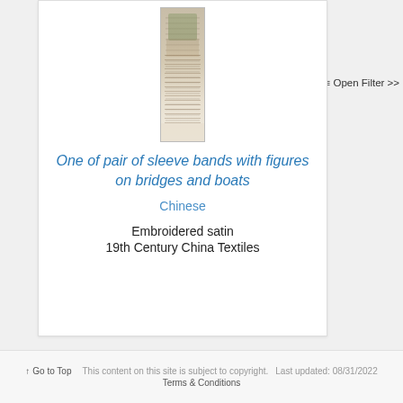[Figure (photo): Tall narrow vertical artwork image of an embroidered sleeve band showing figures on bridges and boats, Chinese style, with muted beige and earth tones]
One of pair of sleeve bands with figures on bridges and boats
Chinese
Embroidered satin
19th Century China Textiles
≡ Open Filter >>
↑ Go to Top   This content on this site is subject to copyright.   Last updated: 08/31/2022   Terms & Conditions